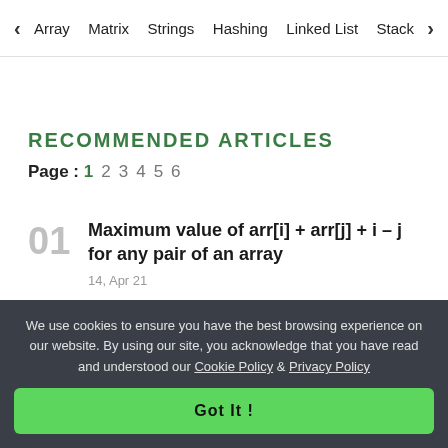< Array  Matrix  Strings  Hashing  Linked List  Stack >
RECOMMENDED ARTICLES
Page : 1 2 3 4 5 6
01  Maximum value of arr[i] + arr[j] + i – j for any pair of an array  14, Apr 21
We use cookies to ensure you have the best browsing experience on our website. By using our site, you acknowledge that you have read and understood our Cookie Policy & Privacy Policy
Got It !